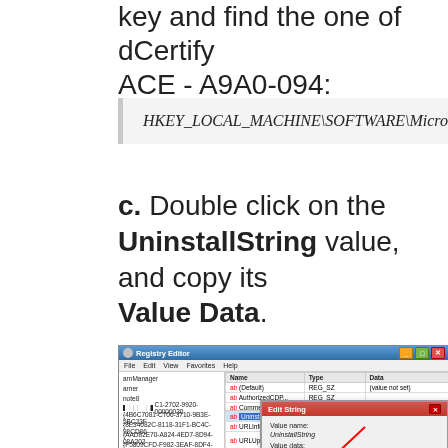key and find the one of dCertify ACE - A9A0-094:
HKEY_LOCAL_MACHINE\SOFTWARE\Microsoft\Wi...
c. Double click on the UninstallString value, and copy its Value Data.
[Figure (screenshot): Registry Editor window showing Edit String dialog with UninstallString value name and value data field highlighted, with a red arrow pointing to the value data field. UninstallString row highlighted in the registry list at the bottom.]